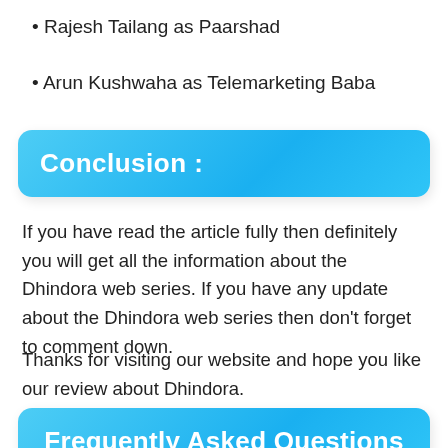Rajesh Tailang as Paarshad
Arun Kushwaha as Telemarketing Baba
Conclusion :
If you have read the article fully then definitely you will get all the information about the Dhindora web series. If you have any update about the Dhindora web series then don't forget to comment down.
Thanks for visiting our website and hope you like our review about Dhindora.
Frequently Asked Questions